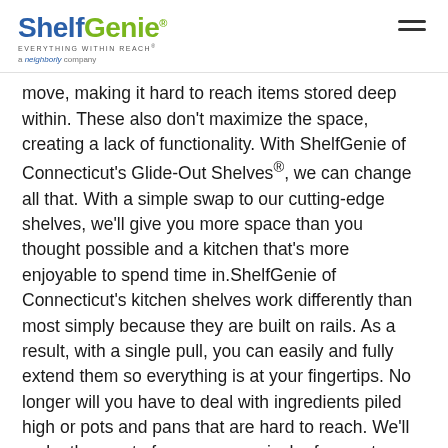ShelfGenie® EVERYTHING WITHIN REACH® a neighborly company
move, making it hard to reach items stored deep within. These also don't maximize the space, creating a lack of functionality. With ShelfGenie of Connecticut's Glide-Out Shelves®, we can change all that. With a simple swap to our cutting-edge shelves, we'll give you more space than you thought possible and a kitchen that's more enjoyable to spend time in.ShelfGenie of Connecticut's kitchen shelves work differently than most simply because they are built on rails. As a result, with a single pull, you can easily and fully extend them so everything is at your fingertips. No longer will you have to deal with ingredients piled high or pots and pans that are hard to reach. We'll make the most of every square inch of your storage space in your kitchen in Stamford CT, enhancing